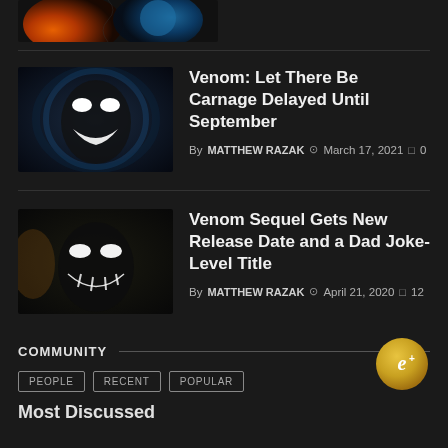[Figure (photo): Partial top image showing fire and earth/space visual, cropped at top]
[Figure (photo): Venom movie thumbnail - dark creature with white eyes and teeth]
Venom: Let There Be Carnage Delayed Until September
By MATTHEW RAZAK  March 17, 2021  0
[Figure (photo): Venom sequel movie thumbnail - dark creature open mouth]
Venom Sequel Gets New Release Date and a Dad Joke-Level Title
By MATTHEW RAZAK  April 21, 2020  12
COMMUNITY
[Figure (logo): Gold circular badge with stylized 'e+' logo]
PEOPLE
RECENT
POPULAR
Most Discussed